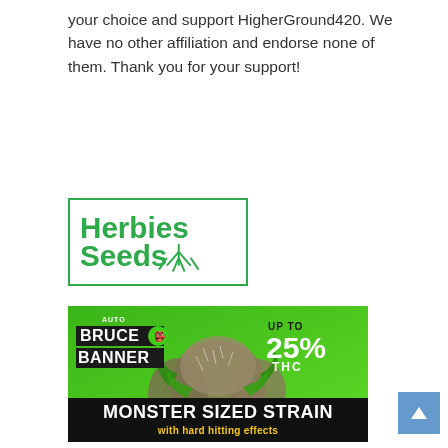your choice and support HigherGround420. We have no other affiliation and endorse none of them. Thank you for your support!
[Figure (logo): Herbies Seeds logo — green text reading 'Herbies Seeds' with a plant root graphic, enclosed in a green border rectangle]
[Figure (illustration): Auto Bruce Banner cannabis seed advertisement. Green background with cannabis plant photo. 'AUTO / BRUCE BANNER' branding top left. 'UP TO 25% THC' top right in bold. Bottom dark band reads 'MONSTER SIZED STRAIN' in white and 'with hard hitting effects' in yellow.]